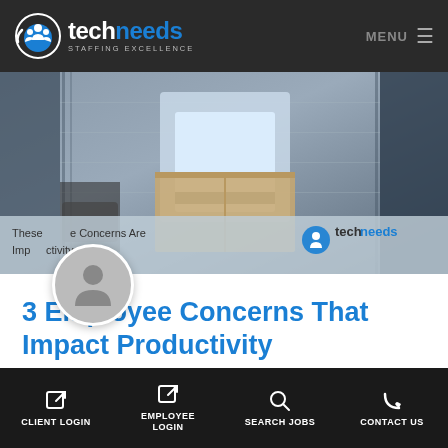techneeds STAFFING EXCELLENCE — MENU
[Figure (photo): Hero image of a person in a blue shirt carrying a box in an office setting, with a semi-transparent overlay bar at the bottom showing 'These [Employee] Concerns Are Imp[acting Produc]tivity' and the techneeds logo]
3 Employee Concerns That Impact Productivity
Your company puts its employees first. And, to date, it has been successful in doing so. Yet, despite your best efforts, employee concerns
CLIENT LOGIN | EMPLOYEE LOGIN | SEARCH JOBS | CONTACT US